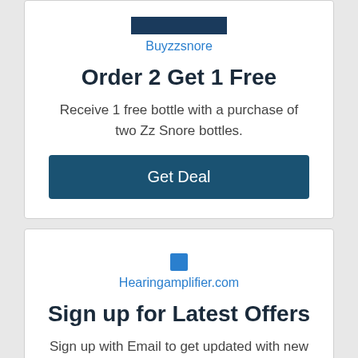[Figure (logo): Dark blue rectangular logo bar for Buyzzsnore]
Buyzzsnore
Order 2 Get 1 Free
Receive 1 free bottle with a purchase of two Zz Snore bottles.
Get Deal
[Figure (logo): Small blue icon for Hearingamplifier.com]
Hearingamplifier.com
Sign up for Latest Offers
Sign up with Email to get updated with new arrivals and latest offers.
Get Deal